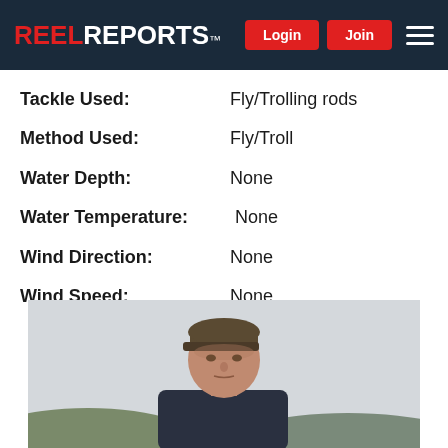REEL REPORTS™
Tackle Used: Fly/Trolling rods
Method Used: Fly/Troll
Water Depth: None
Water Temperature: None
Wind Direction: None
Wind Speed: None
[Figure (photo): A man wearing a dark baseball cap and jacket standing outdoors with hills visible in the background under an overcast sky.]